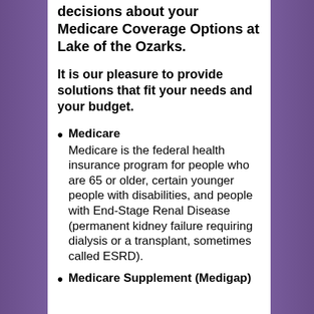decisions about your Medicare Coverage Options at Lake of the Ozarks.
It is our pleasure to provide solutions that fit your needs and your budget.
Medicare
Medicare is the federal health insurance program for people who are 65 or older, certain younger people with disabilities, and people with End-Stage Renal Disease (permanent kidney failure requiring dialysis or a transplant, sometimes called ESRD).
Medicare Supplement (Medigap)